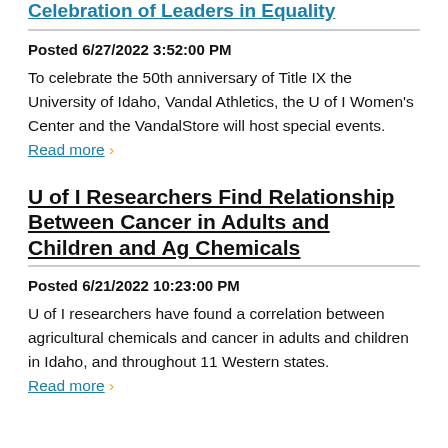Celebration of Leaders in Equality
Posted 6/27/2022 3:52:00 PM
To celebrate the 50th anniversary of Title IX the University of Idaho, Vandal Athletics, the U of I Women's Center and the VandalStore will host special events. Read more ›
U of I Researchers Find Relationship Between Cancer in Adults and Children and Ag Chemicals
Posted 6/21/2022 10:23:00 PM
U of I researchers have found a correlation between agricultural chemicals and cancer in adults and children in Idaho, and throughout 11 Western states. Read more ›